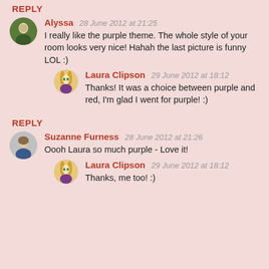REPLY
Alyssa  28 June 2012 at 21:25
I really like the purple theme. The whole style of your room looks very nice! Hahah the last picture is funny LOL :)
Laura Clipson  29 June 2012 at 18:12
Thanks! It was a choice between purple and red, I'm glad I went for purple! :)
REPLY
Suzanne Furness  28 June 2012 at 21:26
Oooh Laura so much purple - Love it!
Laura Clipson  29 June 2012 at 18:12
Thanks, me too! :)